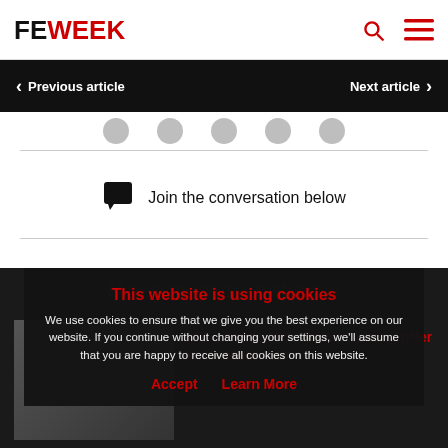FE WEEK
Previous article
Next article
Join the conversation below
More from this theme
This website is using cookies
We use cookies to ensure that we give you the best experience on our website. If you continue without changing your settings, we'll assume that you are happy to receive all cookies on this website.
Accept   Learn More
DfE extends HGV driver training offer for another year